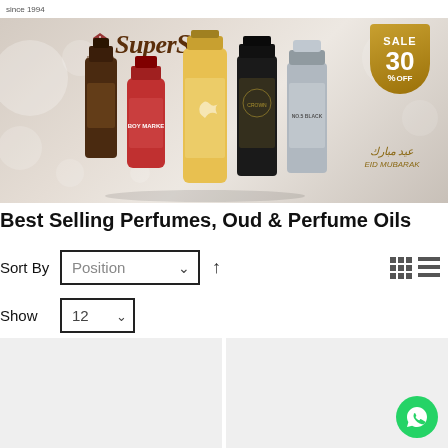since 1994
[Figure (photo): Super Sale banner showing perfume bottles with a SALE 30% OFF badge and Eid Mubarak text]
Best Selling Perfumes, Oud & Perfume Oils
Sort By  Position  (dropdown) (up arrow)
Show  12  (dropdown)
[Figure (photo): Product card placeholder (light grey)]
[Figure (photo): Product card placeholder (light grey) with WhatsApp button]